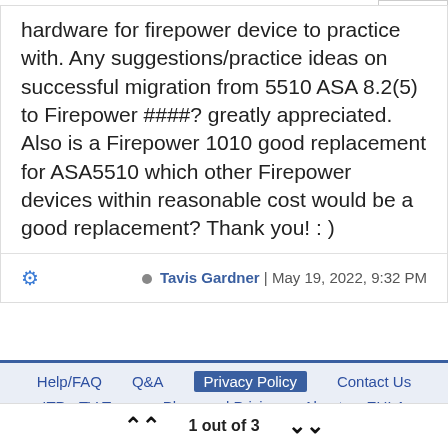hardware for firepower device to practice with. Any suggestions/practice ideas on successful migration from 5510 ASA 8.2(5) to Firepower ####? greatly appreciated. Also is a Firepower 1010 good replacement for ASA5510 which other Firepower devices within reasonable cost would be a good replacement? Thank you! : )
Tavis Gardner | May 19, 2022, 9:32 PM
Help/FAQ   Q&A   Privacy Policy   Contact Us   ITProTV Team   Plans and Pricing   About   EULA
1 out of 3